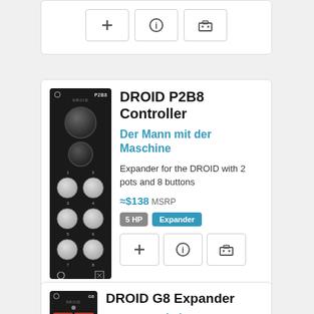[Figure (screenshot): Partial product card with action buttons (plus, info, tools icons) at top of page]
[Figure (photo): DROID P2B8 Controller module image - black Eurorack module with 2 knobs and 8 round buttons arranged in 4x2 grid]
DROID P2B8 Controller
Der Mann mit der Maschine
Expander for the DROID with 2 pots and 8 buttons
≈$138 MSRP
5 HP  Expander
[Figure (photo): DROID G8 Expander module image - black Eurorack module with colored grid buttons]
DROID G8 Expander
Der Mann mit der